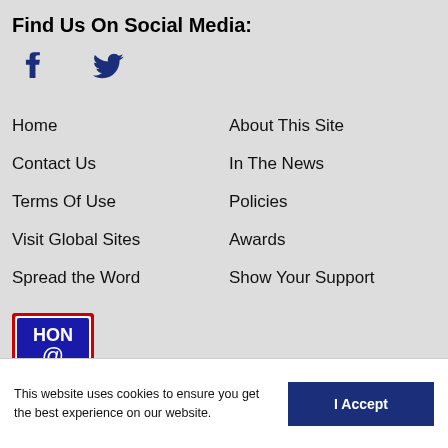Find Us On Social Media:
[Figure (illustration): Facebook and Twitter social media icons in dark blue]
Home
About This Site
Contact Us
In The News
Terms Of Use
Policies
Visit Global Sites
Awards
Spread the Word
Show Your Support
[Figure (logo): HON Code Certified 06/2020 badge - red border, blue background with HON @ CODE text]
Produced by
This website uses cookies to ensure you get the best experience on our website.